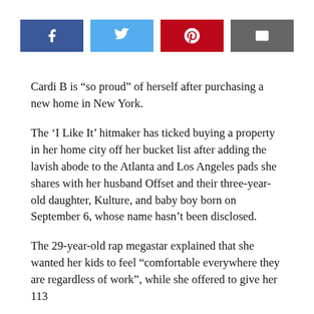[Figure (other): Social sharing buttons: Facebook (blue), Twitter (light blue), Pinterest (red), Email (grey)]
Cardi B is “so proud” of herself after purchasing a new home in New York.
The ‘I Like It’ hitmaker has ticked buying a property in her home city off her bucket list after adding the lavish abode to the Atlanta and Los Angeles pads she shares with her husband Offset and their three-year-old daughter, Kulture, and baby boy born on September 6, whose name hasn’t been disclosed.
The 29-year-old rap megastar explained that she wanted her kids to feel “comfortable everywhere they are regardless of work”, while she offered to give her 113